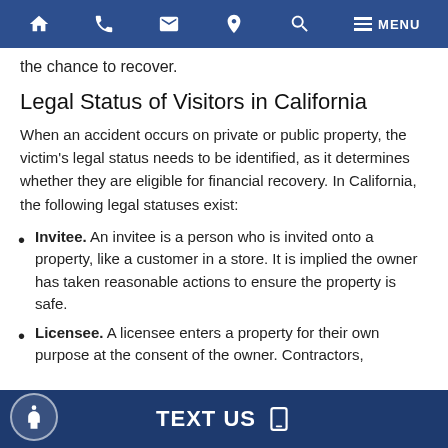Navigation bar with home, phone, email, location, search, and menu icons
the chance to recover.
Legal Status of Visitors in California
When an accident occurs on private or public property, the victim's legal status needs to be identified, as it determines whether they are eligible for financial recovery. In California, the following legal statuses exist:
Invitee. An invitee is a person who is invited onto a property, like a customer in a store. It is implied the owner has taken reasonable actions to ensure the property is safe.
Licensee. A licensee enters a property for their own purpose at the consent of the owner. Contractors,
TEXT US